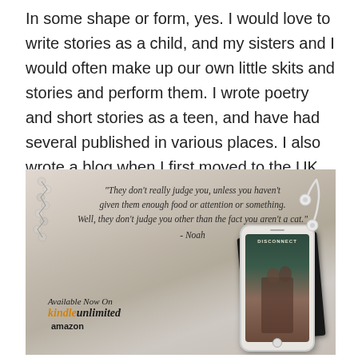In some shape or form, yes. I would love to write stories as a child, and my sisters and I would often make up our own little skits and stories and perform them. I wrote poetry and short stories as a teen, and have had several published in various places. I also wrote a blog when I first moved to the UK.
[Figure (photo): A styled promotional photo showing a smartphone displaying the book cover of 'Disconnect', with earphones and a dark notebook/journal on a knitted blanket background. Overlaid quote text reads: "They don't really judge you, unless you haven't given them enough food or attention or something. Well, they don't judge you other than the fact you aren't a cat." - Noah. Bottom left shows 'Available Now On Kindle Unlimited amazon'.]